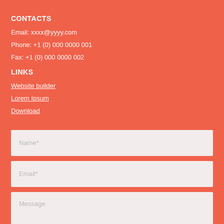CONTACTS
Email: xxxx@yyyy.com
Phone: +1 (0) 000 0000 001
Fax: +1 (0) 000 0000 002
LINKS
Website builder
Lorem Ipsum
Download
Name*
Email*
Message